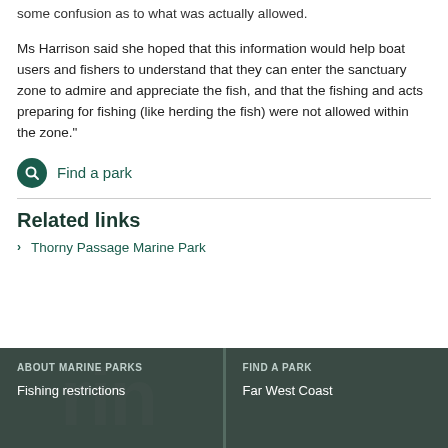some confusion as to what was actually allowed.
Ms Harrison said she hoped that this information would help boat users and fishers to understand that they can enter the sanctuary zone to admire and appreciate the fish, and that the fishing and acts preparing for fishing (like herding the fish) were not allowed within the zone.”
Find a park
Related links
Thorny Passage Marine Park
ABOUT MARINE PARKS | Fishing restrictions | FIND A PARK | Far West Coast